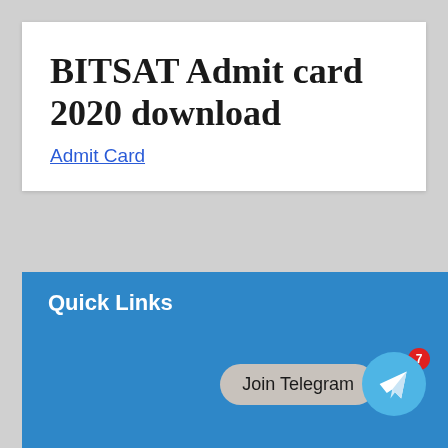BITSAT Admit card 2020 download
Admit Card
Quick Links
[Figure (other): Join Telegram button with Telegram app icon and notification badge showing 7]